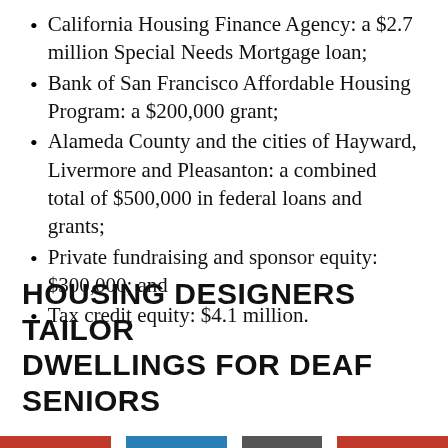California Housing Finance Agency: a $2.7 million Special Needs Mortgage loan;
Bank of San Francisco Affordable Housing Program: a $200,000 grant;
Alameda County and the cities of Hayward, Livermore and Pleasanton: a combined total of $500,000 in federal loans and grants;
Private fundraising and sponsor equity: $300,000; and
Tax credit equity: $4.1 million.
HOUSING DESIGNERS TAILOR DWELLINGS FOR DEAF SENIORS